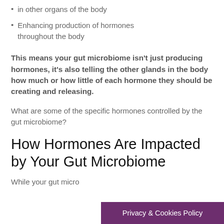in other organs of the body
Enhancing production of hormones throughout the body
This means your gut microbiome isn't just producing hormones, it's also telling the other glands in the body how much or how little of each hormone they should be creating and releasing.
What are some of the specific hormones controlled by the gut microbiome?
How Hormones Are Impacted by Your Gut Microbiome
While your gut micro
Privacy & Cookies Policy